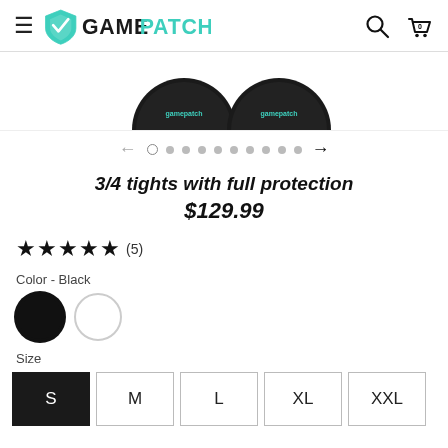GamePatch
[Figure (photo): Two round GamePatch product containers partially visible at top of image carousel]
← ○ • • • • • • • • • →
3/4 tights with full protection
$129.99
★★★★★ (5)
Color - Black
Size
S  M  L  XL  XXL